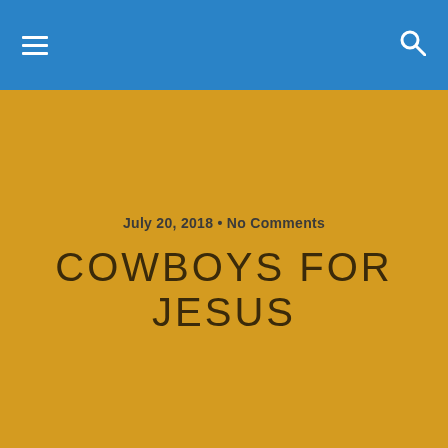Navigation bar with hamburger menu and search icon
July 20, 2018 • No Comments
COWBOYS FOR JESUS
Share | Tweet | Pin | Mail | SMS